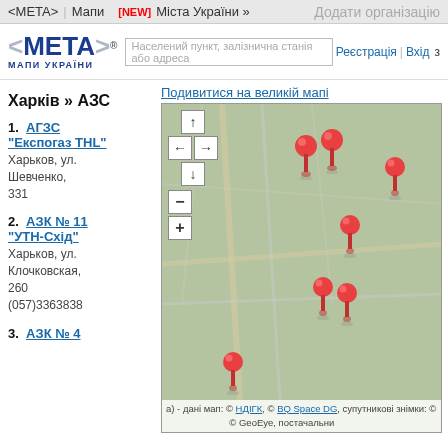<META> | Мапи   [NEW] Міста України »   Додати організацію
[Figure (logo): META Мапи України logo with search bar, registration and login links]
Харків » АЗС
1. АГЗС "Експогаз THL" — Харьков, ул. Шевченко, 331
2. АЗК № 11 "УТН-Схід" — Харьков, ул. Клочковская, 260 — (057)3363838
3. АЗК № 4
[Figure (map): Map of Kharkiv showing AZS (fuel station) locations as red pins on a green-grey background. Navigation controls (arrows, zoom) on left side. Map data credits: НДІГК, BQ Space DG, GeoEye.]
Подивитися на великій мапі
- дані мап: © НДІГК, © BQ Space DG, супутникові знімки: © GeoEye, постачальни...